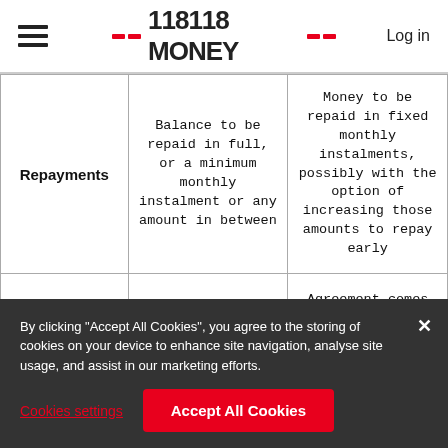118118 MONEY   Log in
|  |  |  |
| --- | --- | --- |
| Repayments | Balance to be repaid in full, or a minimum monthly instalment or any amount in between | Money to be repaid in fixed monthly instalments, possibly with the option of increasing those amounts to repay early |
| Credit Limit/Amount | Used as a continuous line of credit, within the | Agreement comes to an end once the loan plus interest has been repaid in |
By clicking "Accept All Cookies", you agree to the storing of cookies on your device to enhance site navigation, analyse site usage, and assist in our marketing efforts.
Cookies settings
Accept All Cookies